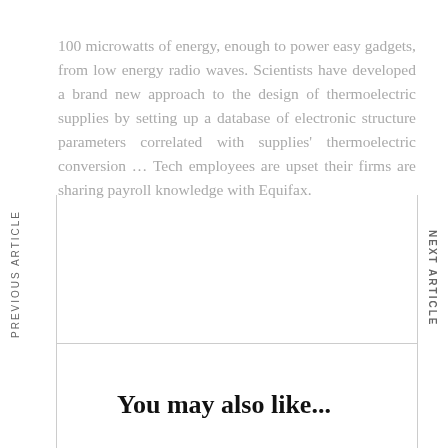100 microwatts of energy, enough to power easy gadgets, from low energy radio waves. Scientists have developed a brand new approach to the design of thermoelectric supplies by setting up a database of electronic structure parameters correlated with supplies' thermoelectric conversion … Tech employees are upset their firms are sharing payroll knowledge with Equifax.
PREVIOUS ARTICLE
NEXT ARTICLE
You may also like...